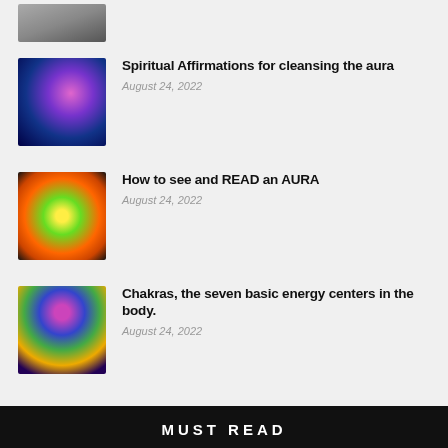[Figure (photo): Partial thumbnail image at top, gray tones]
Spiritual Affirmations for cleansing the aura
August 24, 2022
How to see and READ an AURA
August 24, 2022
Chakras, the seven basic energy centers in the body.
August 24, 2022
MUST READ
[Figure (photo): Partial image at the bottom of the page showing outdoor/nature scene]